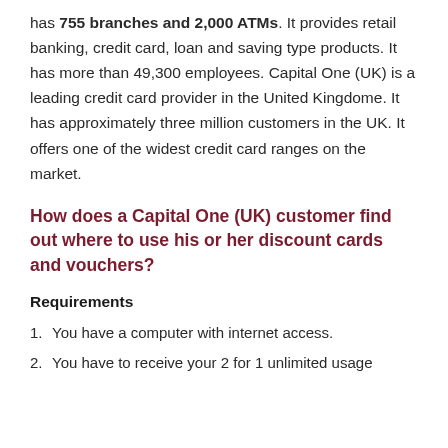has 755 branches and 2,000 ATMs. It provides retail banking, credit card, loan and saving type products. It has more than 49,300 employees. Capital One (UK) is a leading credit card provider in the United Kingdome. It has approximately three million customers in the UK. It offers one of the widest credit card ranges on the market.
How does a Capital One (UK) customer find out where to use his or her discount cards and vouchers?
Requirements
You have a computer with internet access.
You have to receive your 2 for 1 unlimited usage